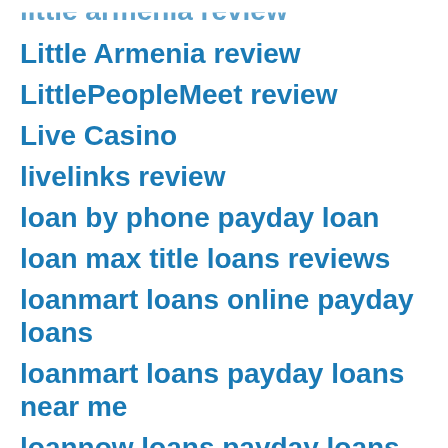little armenia review
Little Armenia review
LittlePeopleMeet review
Live Casino
livelinks review
loan by phone payday loan
loan max title loans reviews
loanmart loans online payday loans
loanmart loans payday loans near me
loannow loans payday loans online